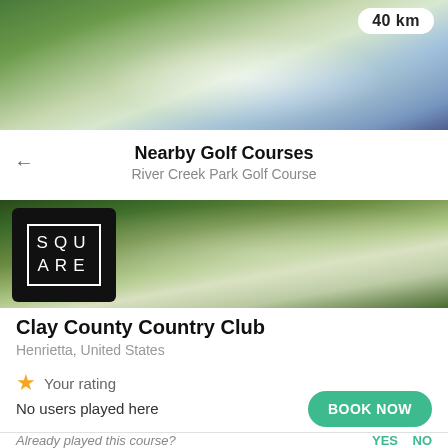[Figure (photo): Blurred golf course aerial/landscape image with green fairway and sky, showing a distance badge reading '40 km' in top right]
Nearby Golf Courses
River Creek Park Golf Course
[Figure (photo): Golf course card header image showing blurred green fairway, overlaid with a black Square logo on the left]
Clay County Country Club
Henrietta, United States
★ Your rating
No users played here
BOOK NOW
Already played this course?
YES   NO